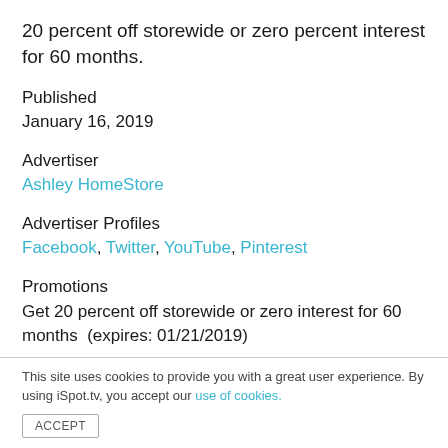20 percent off storewide or zero percent interest for 60 months.
Published
January 16, 2019
Advertiser
Ashley HomeStore
Advertiser Profiles
Facebook, Twitter, YouTube, Pinterest
Promotions
Get 20 percent off storewide or zero interest for 60 months (expires: 01/21/2019)
This site uses cookies to provide you with a great user experience. By using iSpot.tv, you accept our use of cookies.